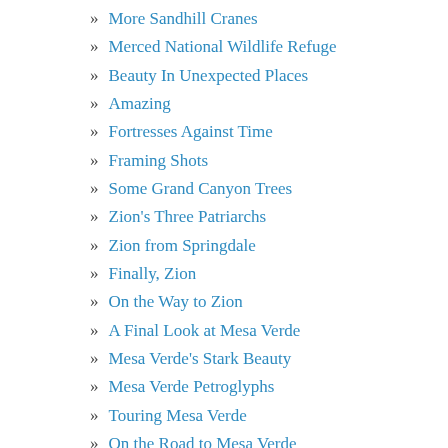More Sandhill Cranes
Merced National Wildlife Refuge
Beauty In Unexpected Places
Amazing
Fortresses Against Time
Framing Shots
Some Grand Canyon Trees
Zion's Three Patriarchs
Zion from Springdale
Finally, Zion
On the Way to Zion
A Final Look at Mesa Verde
Mesa Verde's Stark Beauty
Mesa Verde Petroglyphs
Touring Mesa Verde
On the Road to Mesa Verde